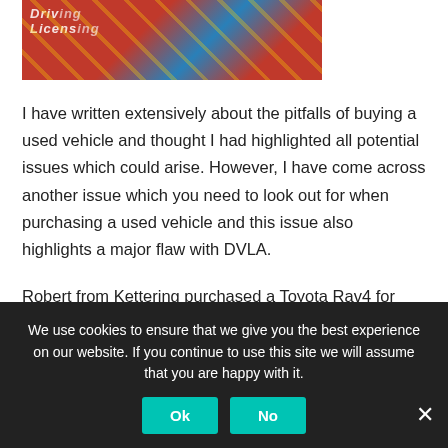[Figure (photo): Close-up photo of a red and blue book/document that appears to be a DVLA Driving Licence, with diagonal gold stripe detail and partial text visible.]
I have written extensively about the pitfalls of buying a used vehicle and thought I had highlighted all potential issues which could arise. However, I have come across another issue which you need to look out for when purchasing a used vehicle and this issue also highlights a major flaw with DVLA.
Robert from Kettering purchased a Toyota Rav4 for £11,490 from a private seller. The advert stated that the vehicle was 'first registered' in 2013 and showed the number plate as a '63' plate, which indeed signifies the year of manufacture as
We use cookies to ensure that we give you the best experience on our website. If you continue to use this site we will assume that you are happy with it.